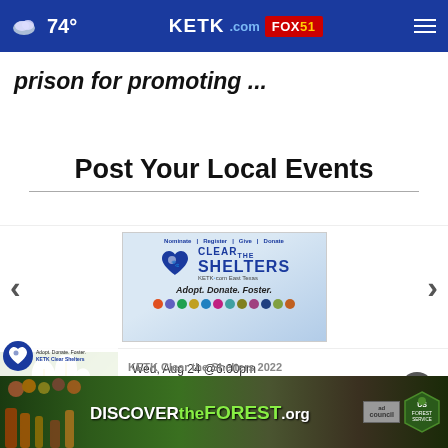74° KETK.com FOX51
prison for promoting ...
Post Your Local Events
[Figure (infographic): Clear the Shelters event promotional banner with KETK logo, paw heart icon, and 'Adopt. Donate. Foster.' tagline with partner organization icons]
Wed, Aug 24 @6:00pm
Elevation
[Figure (photo): White calla lily flowers on a green background]
KETK Clear the Shelters 2022
[Figure (infographic): DISCOVERtheFOREST.org advertisement banner with forest background, ad council and US Forest Service logos]